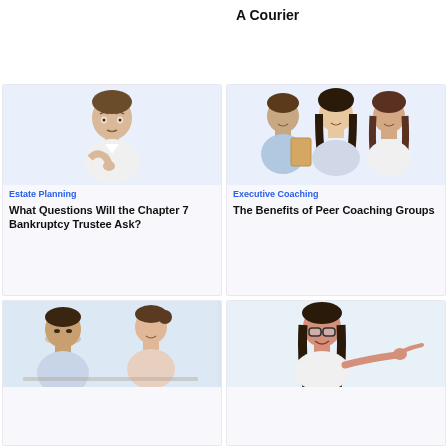A Courier
[Figure (photo): Thoughtful young man in white shirt with hand on chin]
Estate Planning
What Questions Will the Chapter 7 Bankruptcy Trustee Ask?
[Figure (photo): Three women smiling, one holding folders]
Executive Coaching
The Benefits of Peer Coaching Groups
[Figure (photo): Man and woman in meeting/consultation setting]
[Figure (photo): Young woman with glasses smiling and pointing]